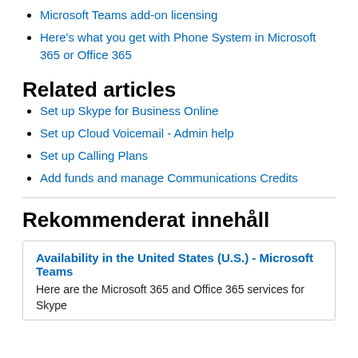Microsoft Teams add-on licensing
Here's what you get with Phone System in Microsoft 365 or Office 365
Related articles
Set up Skype for Business Online
Set up Cloud Voicemail - Admin help
Set up Calling Plans
Add funds and manage Communications Credits
Rekommenderat innehåll
Availability in the United States (U.S.) - Microsoft Teams
Here are the Microsoft 365 and Office 365 services for Skype